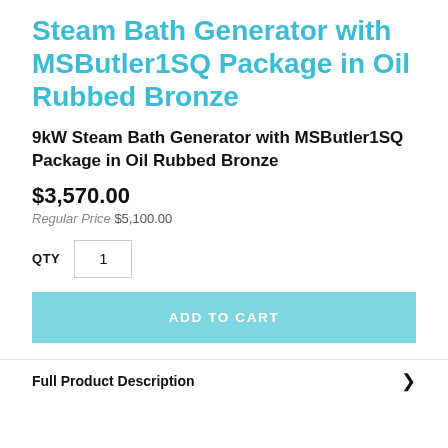Steam Bath Generator with MSButler1SQ Package in Oil Rubbed Bronze
9kW Steam Bath Generator with MSButler1SQ Package in Oil Rubbed Bronze
$3,570.00
Regular Price $5,100.00
QTY 1
ADD TO CART
Full Product Description